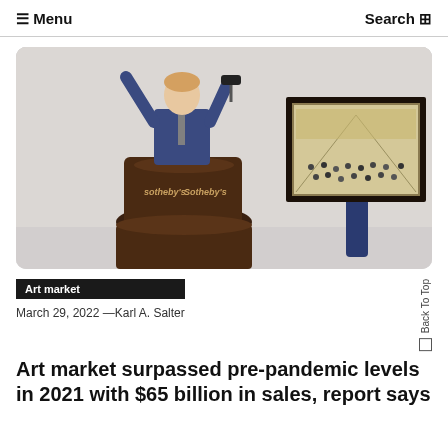☰ Menu    Search
[Figure (photo): Auctioneer at a Sotheby's podium raising a gavel, with a person holding up a framed painting of a crowded indoor scene.]
Art market
March 29, 2022 —Karl A. Salter
Art market surpassed pre-pandemic levels in 2021 with $65 billion in sales, report says